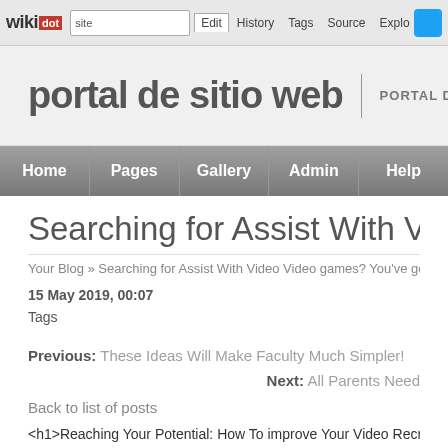wikidot | site | Edit | History | Tags | Source | Explore | Share on [Twitter]
portal de sitio web  |  PORTAL DE SITIO WEB
Home | Pages | Gallery | Admin | Help
Searching for Assist With Video Video ga
Your Blog » Searching for Assist With Video Video games? You've got
15 May 2019, 00:07
Tags
Previous: These Ideas Will Make Faculty Much Simpler!
Next: All Parents Need
Back to list of posts
<h1>Reaching Your Potential: How To improve Your Video Recreation Ski
<p>Video games are part of your life that want managed. When used ef of living. When left unchecked, they can eat up far to much of your h